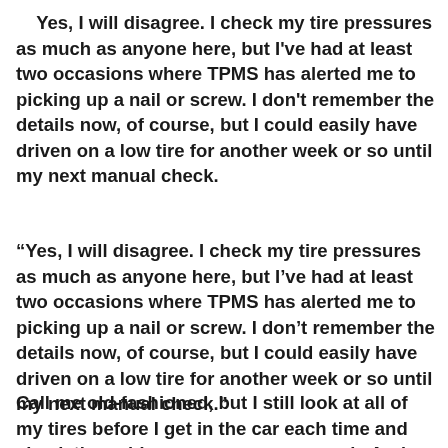Yes, I will disagree. I check my tire pressures as much as anyone here, but I've had at least two occasions where TPMS has alerted me to picking up a nail or screw. I don't remember the details now, of course, but I could easily have driven on a low tire for another week or so until my next manual check.
“Yes, I will disagree. I check my tire pressures as much as anyone here, but I’ve had at least two occasions where TPMS has alerted me to picking up a nail or screw. I don’t remember the details now, of course, but I could easily have driven on a low tire for another week or so until my next manual check.”
Call me old-fashioned, but I still look at all of my tires before I get in the car each time and check the cold pressure once per week. And yes, I...